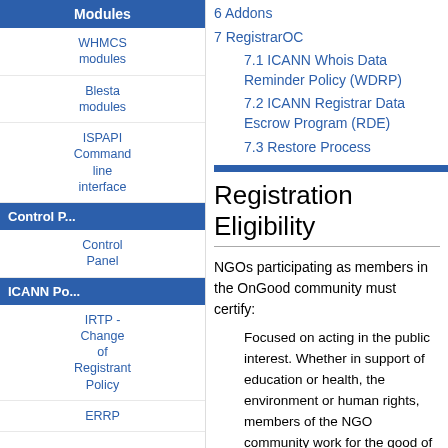Modules
WHMCS modules
Blesta modules
ISPAPI Command line interface
6 Addons
7 RegistrarOC
7.1 ICANN Whois Data Reminder Policy (WDRP)
7.2 ICANN Registrar Data Escrow Program (RDE)
7.3 Restore Process
Control P...
Control Panel
ICANN Po...
IRTP - Change of Registrant Policy
ERRP
Registration Eligibility
NGOs participating as members in the OnGood community must certify:
Focused on acting in the public interest. Whether in support of education or health, the environment or human rights, members of the NGO community work for the good of humankind and/or the preservation of the planet and do not promote discrimination or bigotry. Non-profit focused entities. While many NGOs engage in commercial activities or generate revenue in support of their missions, members of the NGO community do not recognise profits or retain earnings.